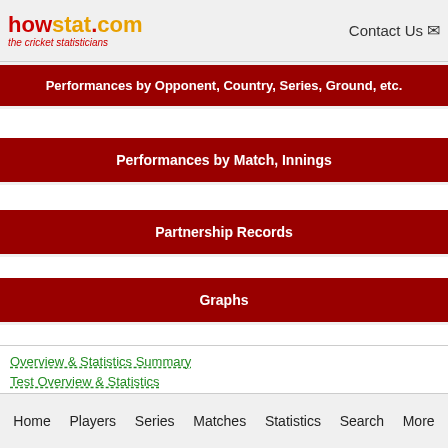howstat.com the cricket statisticians | Contact Us
Performances by Opponent, Country, Series, Ground, etc.
Performances by Match, Innings
Partnership Records
Graphs
Overview & Statistics Summary
Test Overview & Statistics
Home  Players  Series  Matches  Statistics  Search  More